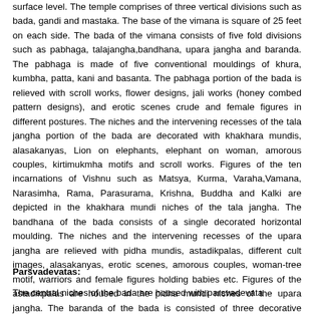surface level. The temple comprises of three vertical divisions such as bada, gandi and mastaka. The base of the vimana is square of 25 feet on each side. The bada of the vimana consists of five fold divisions such as pabhaga, talajangha,bandhana, upara jangha and baranda. The pabhaga is made of five conventional mouldings of khura, kumbha, patta, kani and basanta. The pabhaga portion of the bada is relieved with scroll works, flower designs, jali works (honey combed pattern designs), and erotic scenes crude and female figures in different postures. The niches and the intervening recesses of the tala jangha portion of the bada are decorated with khakhara mundis, alasakanyas, Lion on elephants, elephant on woman, amorous couples, kirtimukmha motifs and scroll works. Figures of the ten incarnations of Vishnu such as Matsya, Kurma, Varaha,Vamana, Narasimha, Rama, Parasurama, Krishna, Buddha and Kalki are depicted in the khakhara mundi niches of the tala jangha. The bandhana of the bada consists of a single decorated horizontal moulding. The niches and the intervening recesses of the upara jangha are relieved with pidha mundis, astadikpalas, different cult images, alasakanyas, erotic scenes, amorous couples, woman-tree motif, warriors and female figures holding babies etc. Figures of the astadikpalas are housed in the pidha mundi niches of the upara jangha. The baranda of the bada is consisted of three decorative horizontal mouldings. The lower moulding of the baranda is decorated with alasakanyas, warriors, mounted elephants, cavaliers and scroll works.
Parsvadevatas:
The central niches of the bada are housed with parsvadevata